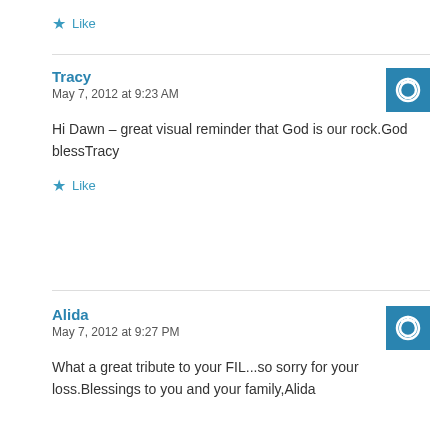Like
Tracy
May 7, 2012 at 9:23 AM
Hi Dawn – great visual reminder that God is our rock.God blessTracy
Like
Alida
May 7, 2012 at 9:27 PM
What a great tribute to your FIL...so sorry for your loss.Blessings to you and your family,Alida